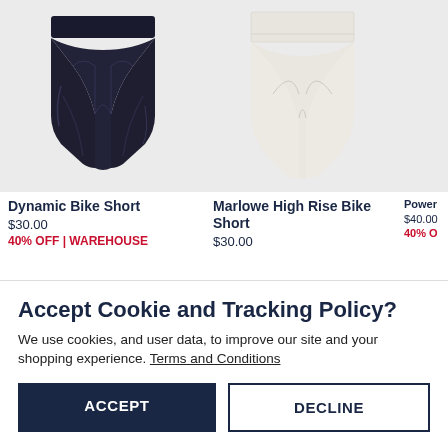[Figure (photo): Black bike shorts product photo on light gray background]
Dynamic Bike Short
$30.00
40% OFF | WAREHOUSE
[Figure (photo): White/cream high rise bike shorts product photo on light gray background]
Marlowe High Rise Bike Short
$30.00
[Figure (photo): Partial view of third product (Power...) on light gray background]
$40.00
40% O
Accept Cookie and Tracking Policy?
We use cookies, and user data, to improve our site and your shopping experience. Terms and Conditions
ACCEPT
DECLINE